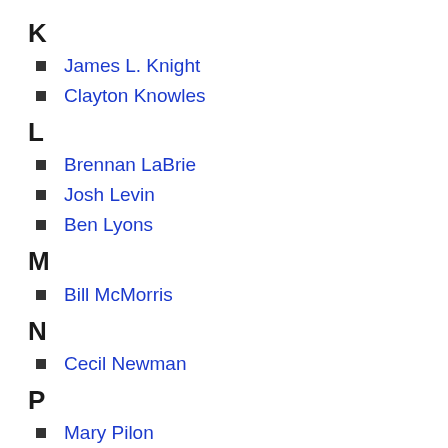K
James L. Knight
Clayton Knowles
L
Brennan LaBrie
Josh Levin
Ben Lyons
M
Bill McMorris
N
Cecil Newman
P
Mary Pilon